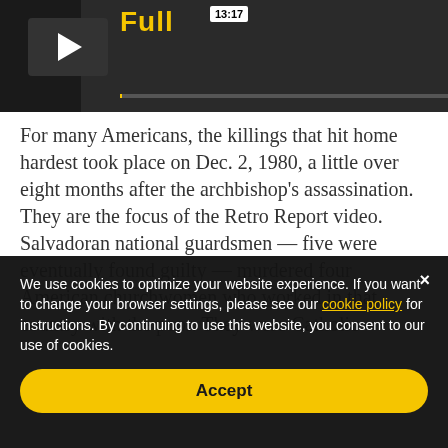[Figure (screenshot): Video player bar showing a play button on the left, a timestamp '13:17' in a white box, a yellow title text partially visible, and a progress bar at the bottom.]
For many Americans, the killings that hit home hardest took place on Dec. 2, 1980, a little over eight months after the archbishop's assassination. They are the focus of the Retro Report video. Salvadoran national guardsmen — five were eventually found guilty — murdered four American churchwomen who worked in that country with the poor. They were Catholic
We use cookies to optimize your website experience. If you want to change your browser settings, please see our cookie policy for instructions. By continuing to use this website, you consent to our use of cookies.
Accept